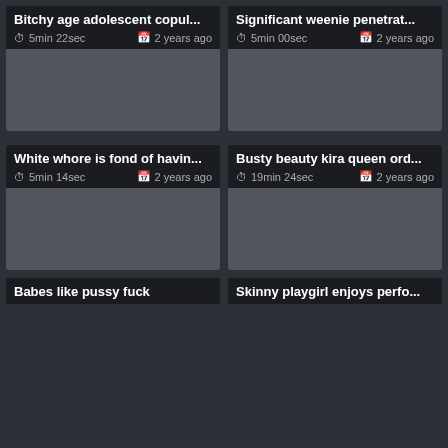[Figure (screenshot): Video thumbnail grid showing adult content video listings with titles, durations, and upload dates]
Bitchy age adolescent copul...
5min 22sec  2 years ago
Significant weenie penetrat...
5min 00sec  2 years ago
White whore is fond of havin...
5min 14sec  2 years ago
Busty beauty kira queen ord...
19min 24sec  2 years ago
Babes like pussy fuck
Skinny playgirl enjoys perfo...